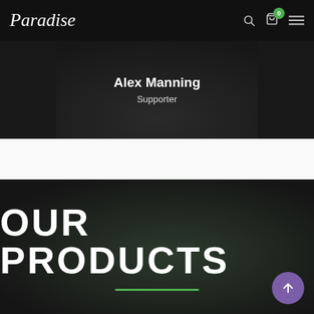Paradise — navigation bar with logo, search, cart (0), and menu icons
[Figure (screenshot): Profile card showing Alex Manning, Supporter, on a dark background]
OUR PRODUCTS